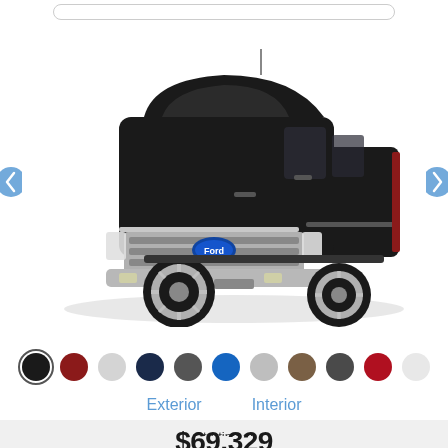[Figure (screenshot): Search bar at top of page]
[Figure (photo): Black Ford F-250 Super Duty pickup truck, front three-quarter view on white background]
[Figure (other): Row of color swatches for vehicle exterior/interior colors: black (selected), dark red, light gray, dark navy, dark gray, blue, light gray, tan/brown, dark gray, red, light gray]
Exterior   Interior
Starting at
$69,329